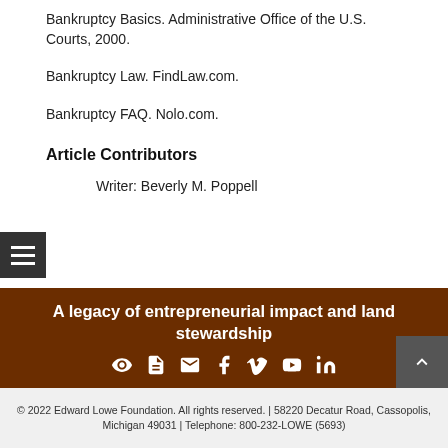Bankruptcy Basics. Administrative Office of the U.S. Courts, 2000.
Bankruptcy Law. FindLaw.com.
Bankruptcy FAQ. Nolo.com.
Article Contributors
Writer: Beverly M. Poppell
A legacy of entrepreneurial impact and land stewardship
© 2022 Edward Lowe Foundation. All rights reserved. | 58220 Decatur Road, Cassopolis, Michigan 49031 | Telephone: 800-232-LOWE (5693)